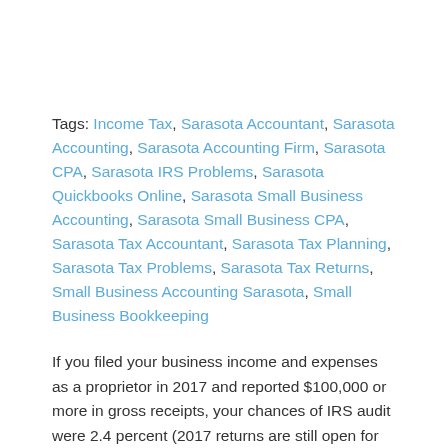Tags: Income Tax, Sarasota Accountant, Sarasota Accounting, Sarasota Accounting Firm, Sarasota CPA, Sarasota IRS Problems, Sarasota Quickbooks Online, Sarasota Small Business Accounting, Sarasota Small Business CPA, Sarasota Tax Accountant, Sarasota Tax Planning, Sarasota Tax Problems, Sarasota Tax Returns, Small Business Accounting Sarasota, Small Business Bookkeeping
If you filed your business income and expenses as a proprietor in 2017 and reported $100,000 or more in gross receipts, your chances of IRS audit were 2.4 percent (2017 returns are still open for audit, so the percentage could increase). Had you reported this income as an S corporation, your chances of audit